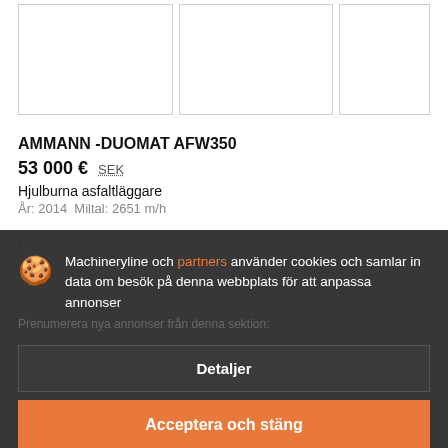[Figure (photo): Three image placeholder boxes in a gallery row]
AMMANN -DUOMAT AFW350
53 000 € SEK
Hjulburna asfaltläggare
År: 2014  Miltal: 2651 m/h
Machineryline och partners använder cookies och samlar in data om besök på denna webbplats för att anpassa annonser
Detaljer
Acceptera och stäng